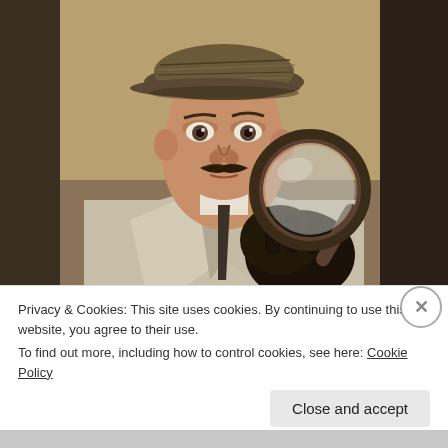[Figure (photo): A man in a trench coat and tweed flat cap holding a magnifying glass up close to his face, wearing black gloves, looking directly at the camera. The image has a retro film quality.]
Privacy & Cookies: This site uses cookies. By continuing to use this website, you agree to their use.
To find out more, including how to control cookies, see here: Cookie Policy